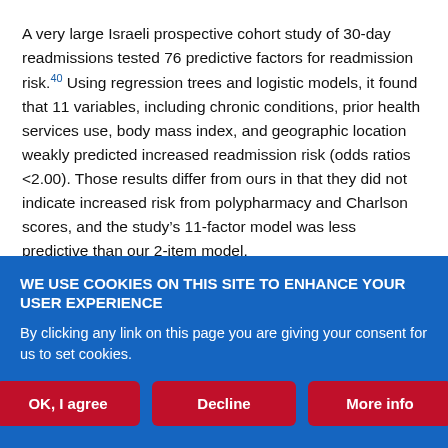A very large Israeli prospective cohort study of 30-day readmissions tested 76 predictive factors for readmission risk.40 Using regression trees and logistic models, it found that 11 variables, including chronic conditions, prior health services use, body mass index, and geographic location weakly predicted increased readmission risk (odds ratios <2.00). Those results differ from ours in that they did not indicate increased risk from polypharmacy and Charlson scores, and the study's 11-factor model was less predictive than our 2-item model.
We note that low social support and financial issues were not
WE USE COOKIES ON THIS SITE TO ENHANCE YOUR USER EXPERIENCE
By clicking any link on this page you are giving your consent for us to set cookies.